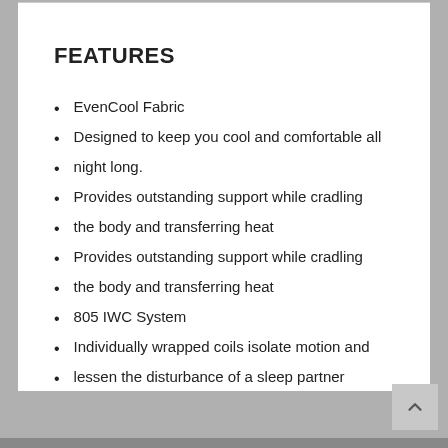FEATURES
EvenCool Fabric
Designed to keep you cool and comfortable all
night long.
Provides outstanding support while cradling
the body and transferring heat
Provides outstanding support while cradling
the body and transferring heat
805 IWC System
Individually wrapped coils isolate motion and
lessen the disturbance of a sleep partner